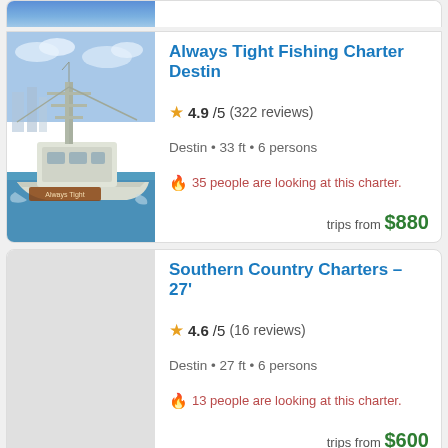[Figure (photo): Partial top of a fishing charter listing card, showing only the top portion of a boat photo]
Always Tight Fishing Charter Destin
4.9/5 (322 reviews)
Destin • 33 ft • 6 persons
35 people are looking at this charter.
trips from $880
Southern Country Charters – 27'
4.6/5 (16 reviews)
Destin • 27 ft • 6 persons
13 people are looking at this charter.
trips from $600